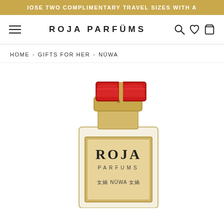CHOOSE TWO COMPLIMENTARY TRAVEL SIZES WITH A
ROJA PARFUMS
HOME > GIFTS FOR HER > NÜWA
[Figure (photo): Roja Parfums Nüwa perfume bottle with gold cap topped by two red gemstone-style decorative pieces, transparent bottle body with gold label reading ROJA PARFUMS 女媧 NÜWA 女媧]